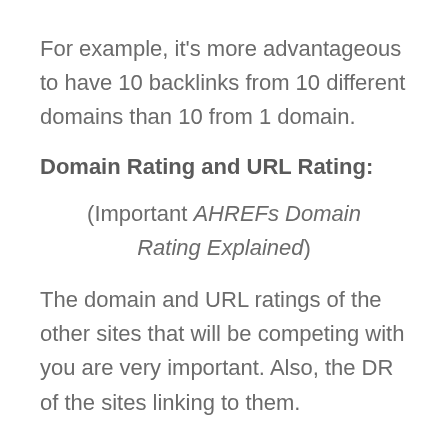For example, it's more advantageous to have 10 backlinks from 10 different domains than 10 from 1 domain.
Domain Rating and URL Rating:
(Important AHREFs Domain Rating Explained)
The domain and URL ratings of the other sites that will be competing with you are very important. Also, the DR of the sites linking to them.